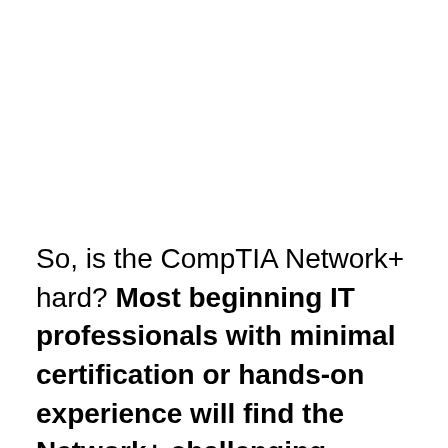So, is the CompTIA Network+ hard? Most beginning IT professionals with minimal certification or hands-on experience will find the Network+ challenging, however, seasoned networking professionals will not find the Network+ to be as challenging as other certifications they may have earned.